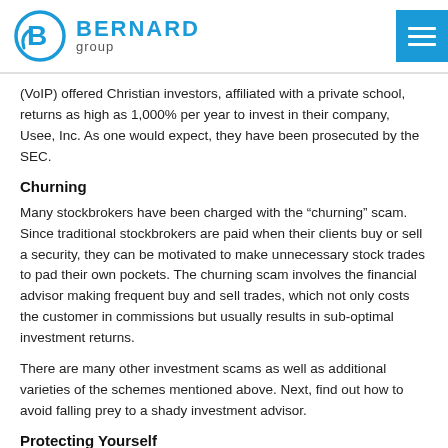BERNARD group
(VoIP) offered Christian investors, affiliated with a private school, returns as high as 1,000% per year to invest in their company, Usee, Inc. As one would expect, they have been prosecuted by the SEC.
Churning
Many stockbrokers have been charged with the “churning” scam. Since traditional stockbrokers are paid when their clients buy or sell a security, they can be motivated to make unnecessary stock trades to pad their own pockets. The churning scam involves the financial advisor making frequent buy and sell trades, which not only costs the customer in commissions but usually results in sub-optimal investment returns.
There are many other investment scams as well as additional varieties of the schemes mentioned above. Next, find out how to avoid falling prey to a shady investment advisor.
Protecting Yourself